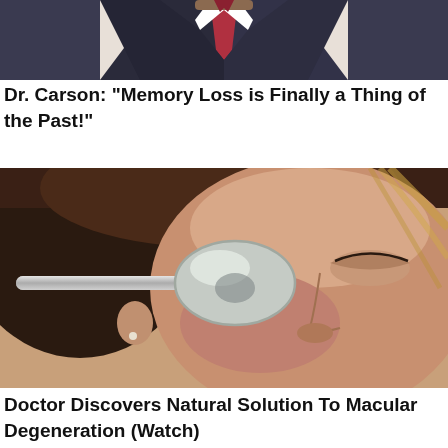[Figure (photo): Cropped photo of a man in a dark suit and red tie, showing neck and suit area]
Dr. Carson: "Memory Loss is Finally a Thing of the Past!"
[Figure (photo): Close-up photo of a woman's face with eyes closed, with a silver spoon held up covering one eye]
Doctor Discovers Natural Solution To Macular Degeneration (Watch)